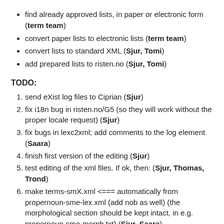find already approved lists, in paper or electronic form (term team)
convert paper lists to electronic lists (term team)
convert lists to standard XML (Sjur, Tomi)
add prepared lists to risten.no (Sjur, Tomi)
TODO:
send eXist log files to Ciprian (Sjur)
fix i18n bug in risten.no/G5 (so they will work without the proper locale request) (Sjur)
fix bugs in lexc2xml; add comments to the log element (Saara)
finish first version of the editing (Sjur)
test editing of the xml files. If ok, then: (Sjur, Thomas, Trond)
make terms-smX.xml <=== automatically from propernoun-sme-lex.xml (add nob as well) (the morphological section should be kept intact, in e.g. propernoun-sme-morph.txt) (Sjur, Saara)
convert propernoun-($lang)-lex.txt to a derived file